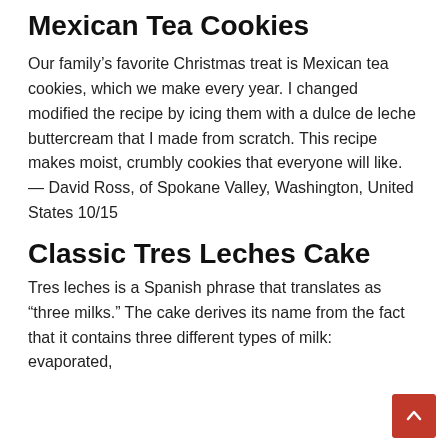Mexican Tea Cookies
Our family’s favorite Christmas treat is Mexican tea cookies, which we make every year. I changed modified the recipe by icing them with a dulce de leche buttercream that I made from scratch. This recipe makes moist, crumbly cookies that everyone will like. — David Ross, of Spokane Valley, Washington, United States 10/15
Classic Tres Leches Cake
Tres leches is a Spanish phrase that translates as “three milks.” The cake derives its name from the fact that it contains three different types of milk: evaporated,